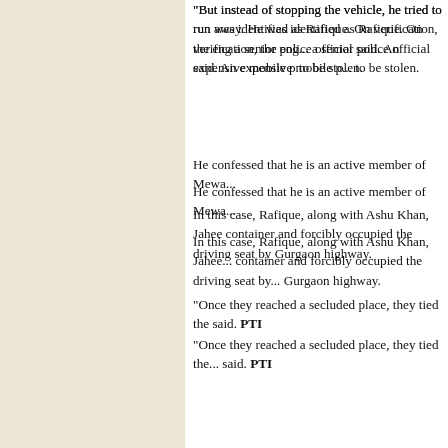"But instead of stopping the vehicle, he tried to run away. He was identified as Rafique. On verification, the engine number... a senior police official said. An expensive mobile phone... to be stolen.
He confessed that he is an active member of Mewa...
In this case, Rafique, along with Ashu Khan, Jahee... container and forcibly occupied the driving seat by... Gurgaon highway.
"Once they reached a secluded place, they tied the... said. PTI
Robbing Rs 270, cell p
New Delhi, February 3
Robbing an auto driver of Rs 270 and a cell phone... to seven years in jail, besides imposing a fine of Rs...
Observing that incidents of robberies and snatching... not deserve any leniency, Additional Sessions Judg... awarded him stringent punishment.
"Incidents of armed robberies and snatching in Del... lately. Despite active patrolling and vigilant polic...